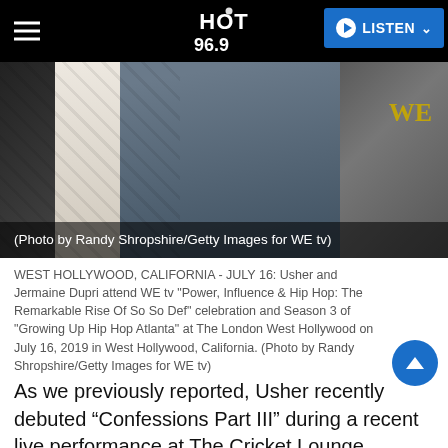HOT 96.9  LISTEN
[Figure (photo): Person wearing a dark patterned jacket and white collared shirt, photographed at a WE tv event. Caption overlay: (Photo by Randy Shropshire/Getty Images for WE tv)]
WEST HOLLYWOOD, CALIFORNIA - JULY 16: Usher and Jermaine Dupri attend WE tv "Power, Influence & Hip Hop: The Remarkable Rise Of So So Def" celebration and Season 3 of "Growing Up Hip Hop Atlanta" at The London West Hollywood on July 16, 2019 in West Hollywood, California. (Photo by Randy Shropshire/Getty Images for WE tv)
As we previously reported, Usher recently debuted “Confessions Part III” during a recent live performance at The Cricket Lounge.